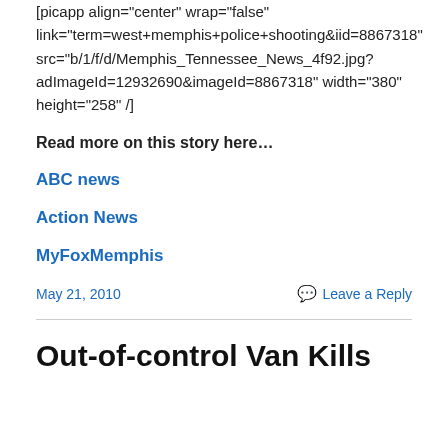[picapp align="center" wrap="false" link="term=west+memphis+police+shooting&iid=8867318" src="b/1/f/d/Memphis_Tennessee_News_4f92.jpg?adImageId=12932690&imageId=8867318" width="380" height="258" /]
Read more on this story here…
ABC news
Action News
MyFoxMemphis
May 21, 2010
Leave a Reply
Out-of-control Van Kills